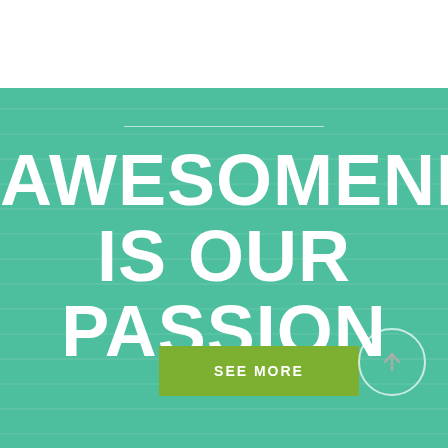AWESOMENESS IS OUR PASSION
[Figure (illustration): Green teal background section with horizontal subtle texture stripes, a thin white horizontal divider line at top, bold white text reading AWESOMENESS IS OUR PASSION, an olive/green SEE MORE button, and a circular white-outline button with an upward arrow icon in the lower right.]